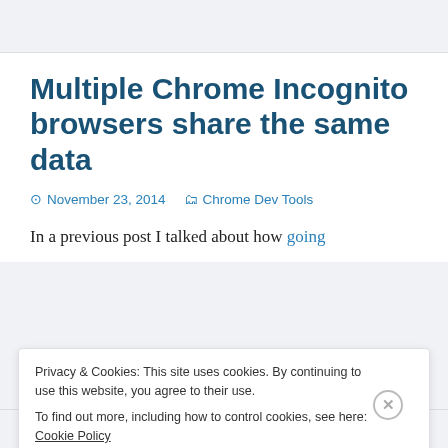Multiple Chrome Incognito browsers share the same data
November 23, 2014   Chrome Dev Tools
In a previous post I talked about how going
Privacy & Cookies: This site uses cookies. By continuing to use this website, you agree to their use.
To find out more, including how to control cookies, see here: Cookie Policy
Close and accept